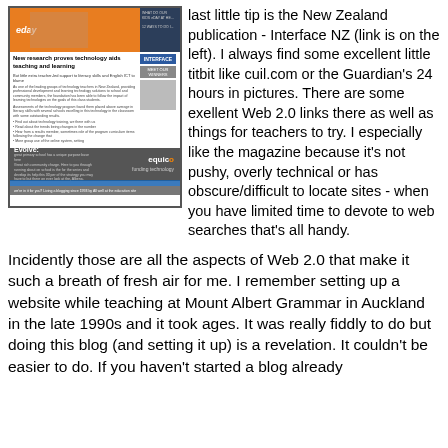[Figure (screenshot): Screenshot of Interface NZ educational technology magazine page, showing a header with 'eday' branding in orange, article titled 'New research proves technology aids teaching and learning', sidebar navigation, Interface badge, Meet Our Winners section, Evolve/Equico advertisement, and blue footer bar.]
last little tip is the New Zealand publication - Interface NZ (link is on the left). I always find some excellent little titbit like cuil.com or the Guardian's 24 hours in pictures. There are some exellent Web 2.0 links there as well as things for teachers to try. I especially like the magazine because it's not pushy, overly technical or has obscure/difficult to locate sites - when you have limited time to devote to web searches that's all handy.
Incidently those are all the aspects of Web 2.0 that make it such a breath of fresh air for me. I remember setting up a website while teaching at Mount Albert Grammar in Auckland in the late 1990s and it took ages. It was really fiddly to do but doing this blog (and setting it up) is a revelation. It couldn't be easier to do. If you haven't started a blog already